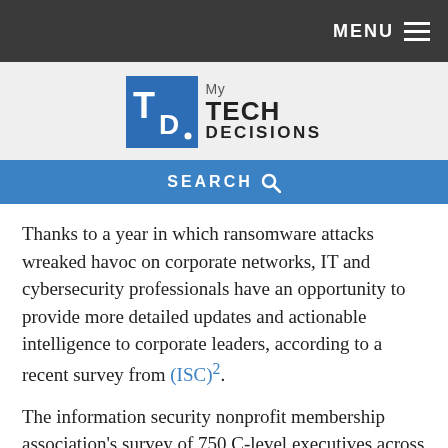MENU
[Figure (logo): My Tech Decisions logo — blue square with white 'TD' letters beside 'My TECH DECISIONS' text]
SEARCH
Thanks to a year in which ransomware attacks wreaked havoc on corporate networks, IT and cybersecurity professionals have an opportunity to provide more detailed updates and actionable intelligence to corporate leaders, according to a recent survey from (ISC)².
The information security nonprofit membership association's survey of 750 C-level executives across the U.S. and U.K. show that confidence among IT security professionals is high when it comes to ransomware defense, and there remains a strong willingness to invest in technology and staff.